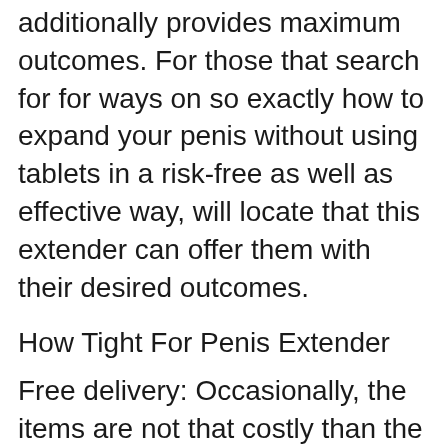additionally provides maximum outcomes. For those that search for for ways on so exactly how to expand your penis without using tablets in a risk-free as well as effective way, will locate that this extender can offer them with their desired outcomes.
How Tight For Penis Extender
Free delivery: Occasionally, the items are not that costly than the shipping fees. Now you can obtain a hold over this medical device that has proven to offer assured results without stressing over the shipping costs. In addition to this the extender promises return back plan, so even if you are hesitant to try it out because of your worry of investing in something which can not provide you your